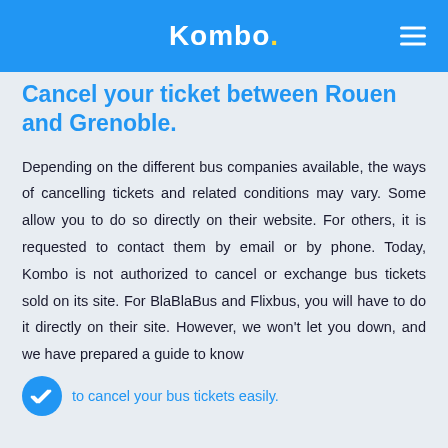Kombo.
Cancel your ticket between Rouen and Grenoble.
Depending on the different bus companies available, the ways of cancelling tickets and related conditions may vary. Some allow you to do so directly on their website. For others, it is requested to contact them by email or by phone. Today, Kombo is not authorized to cancel or exchange bus tickets sold on its site. For BlaBlaBus and Flixbus, you will have to do it directly on their site. However, we won't let you down, and we have prepared a guide to know to cancel your bus tickets easily.